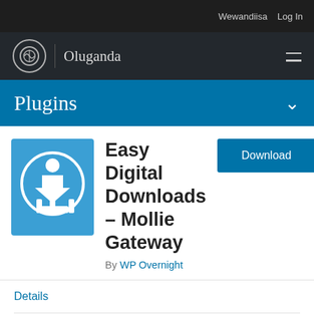Wewandiisa  Log In
Oluganda
Plugins
Easy Digital Downloads – Mollie Gateway
By WP Overnight
Details
Reviews
Installation